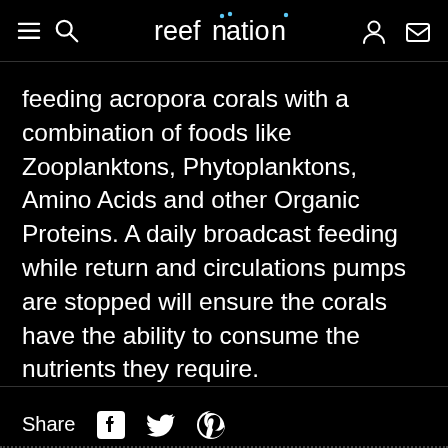reefnation
feeding acropora corals with a combination of foods like Zooplanktons, Phytoplanktons, Amino Acids and other Organic Proteins. A daily broadcast feeding while return and circulations pumps are stopped will ensure the corals have the ability to consume the nutrients they require.
Share